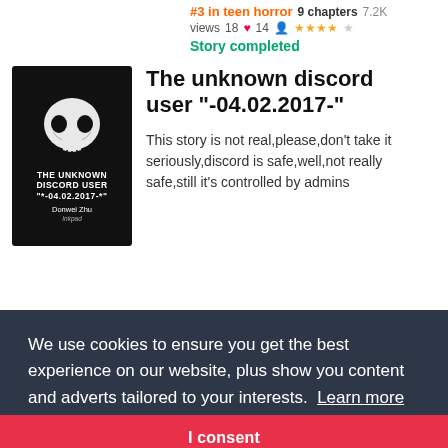#3 in teen horror   9 chapters   7.2K views   18❤   14👤   ★★★★☆   Story completed
The unknown discord user "-04.02.2017-"
[Figure (illustration): Book cover with black background, Jack Skellington-style skull face, text THE UNKNOWN DISCORD USER *-04.02.2017-*, author Donwei Zhu]
This story is not real,please,don't take it seriously,discord is safe,well,not really safe,still it's controlled by admins
We use cookies to ensure you get the best experience on our website, plus show you content and adverts tailored to your interests.  Learn more
I consent
Not sure if I want to continue this or